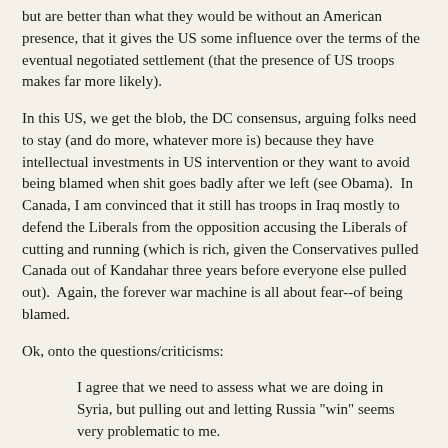but are better than what they would be without an American presence, that it gives the US some influence over the terms of the eventual negotiated settlement (that the presence of US troops makes far more likely).
In this US, we get the blob, the DC consensus, arguing folks need to stay (and do more, whatever more is) because they have intellectual investments in US intervention or they want to avoid being blamed when shit goes badly after we left (see Obama).  In Canada, I am convinced that it still has troops in Iraq mostly to defend the Liberals from the opposition accusing the Liberals of cutting and running (which is rich, given the Conservatives pulled Canada out of Kandahar three years before everyone else pulled out).  Again, the forever war machine is all about fear--of being blamed.
Ok, onto the questions/criticisms:
I agree that we need to assess what we are doing in Syria, but pulling out and letting Russia "win" seems very problematic to me.
— Sara Mitchell (@sbmitche) December 19, 2018